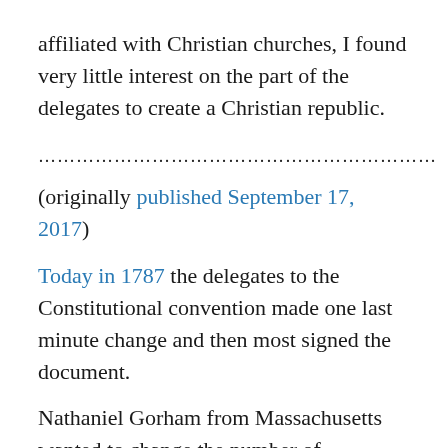affiliated with Christian churches, I found very little interest on the part of the delegates to create a Christian republic.
………………………………………………………
(originally published September 17, 2017)
Today in 1787 the delegates to the Constitutional convention made one last minute change and then most signed the document.
Nathaniel Gorham from Massachusetts wanted to change the number of representatives by changing the ratio of one representative for